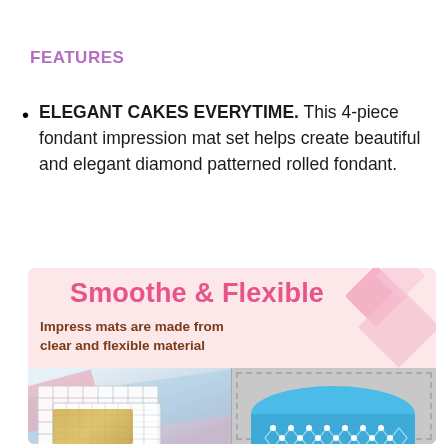FEATURES
ELEGANT CAKES EVERYTIME. This 4-piece fondant impression mat set helps create beautiful and elegant diamond patterned rolled fondant.
[Figure (photo): Product promotional image showing 'Smoothe & Flexible' text in pink, brown subheading 'Impress mats are made from clear and flexible material', with fondant impression mats on the left and a blue diamond-patterned cake on the right, on a light pink background with decorative pink diamond shapes.]